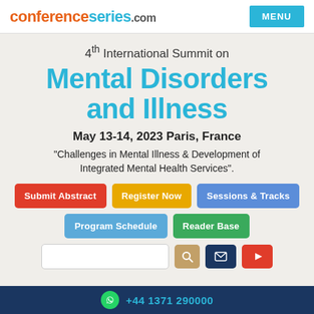conferenceseries.com
4th International Summit on Mental Disorders and Illness
May 13-14, 2023 Paris, France
“Challenges in Mental Illness & Development of Integrated Mental Health Services”.
Submit Abstract
Register Now
Sessions & Tracks
Program Schedule
Reader Base
+44 1371 290000